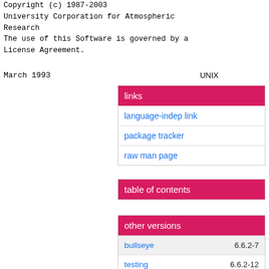Copyright (c) 1987-2003
    University Corporation for Atmospheric Research
    The use of this Software is governed by a License Agreement.
March 1993    UNIX
| links |
| --- |
| language-indep link |
| package tracker |
| raw man page |
| table of contents |
| --- |
| other versions |
| --- |
| bullseye | 6.6.2-7 |
| testing | 6.6.2-12 |
| unstable | 6.6.2-12+b1 |